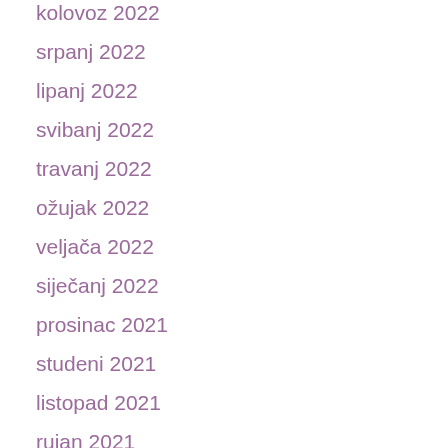kolovoz 2022
srpanj 2022
lipanj 2022
svibanj 2022
travanj 2022
ožujak 2022
veljača 2022
siječanj 2022
prosinac 2021
studeni 2021
listopad 2021
rujan 2021
kolovoz 2021
srpanj 2021